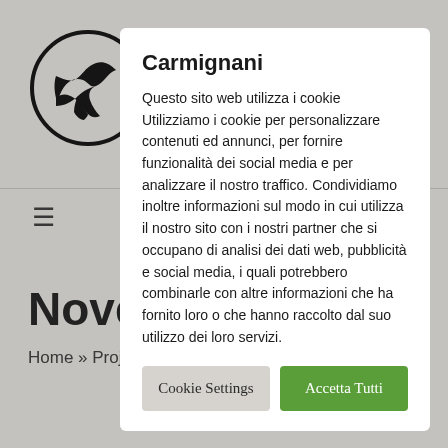[Figure (logo): Circular wave/surf logo mark in black and white]
Carmignani
≡
Novels
Home » Projects
Questo sito web utilizza i cookie Utilizziamo i cookie per personalizzare contenuti ed annunci, per fornire funzionalità dei social media e per analizzare il nostro traffico. Condividiamo inoltre informazioni sul modo in cui utilizza il nostro sito con i nostri partner che si occupano di analisi dei dati web, pubblicità e social media, i quali potrebbero combinarle con altre informazioni che ha fornito loro o che hanno raccolto dal suo utilizzo dei loro servizi.
Cookie Settings
Accetta Tutti